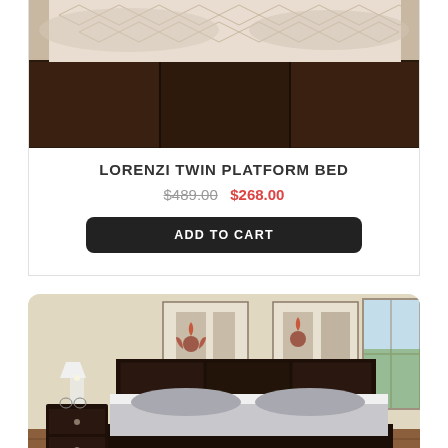[Figure (photo): Top portion of a dark brown leather platform bed with beige/cream patterned bedding, close-up view from above]
LORENZI TWIN PLATFORM BED
$489.00 $268.00
ADD TO CART
[Figure (photo): Bedroom scene showing a dark brown leather platform bed with grey bedding, matching nightstand with lamp, wall art with floral motifs, and a window with natural light on the right]